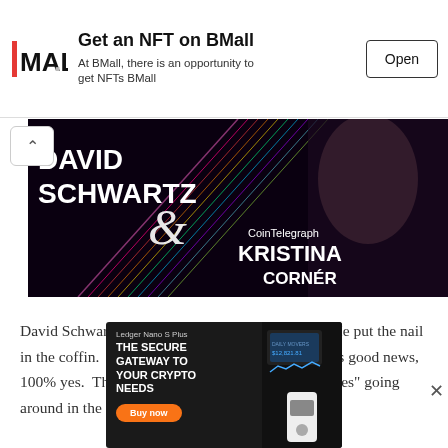[Figure (screenshot): BMall advertisement banner showing logo, 'Get an NFT on BMall' text, subtitle 'At BMall, there is an opportunity to get NFTs BMall', and an Open button]
[Figure (screenshot): Event banner showing 'David Schwartz & CoinTelegraph Kristina Corner' on dark background with colorful light streaks]
David Schwartz but an end to any pre-allocation.  He put the nail in the coffin.  Is this bad news, of course not.  Is this good news, 100% yes.  There are too many hopium type “theories” going around in the
[Figure (screenshot): Ledger Nano S Plus advertisement: 'THE SECURE GATEWAY TO YOUR CRYPTO NEEDS' with Buy now orange button and device image]